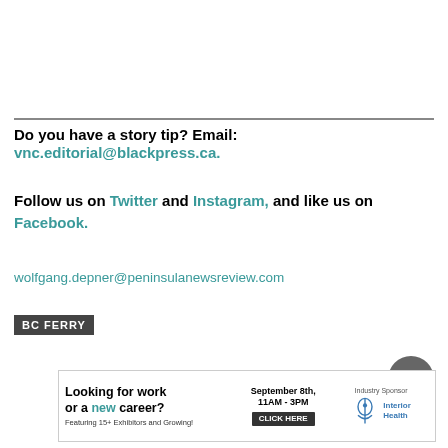Do you have a story tip? Email:
vnc.editorial@blackpress.ca.
Follow us on Twitter and Instagram, and like us on Facebook.
wolfgang.depner@peninsulanewsreview.com
BC FERRY
[Figure (other): Advertisement banner: Looking for work or a new career? September 8th, 11AM-3PM. Featuring 15+ Exhibitors and Growing! Industry Sponsor: Interior Health. CLICK HERE button.]